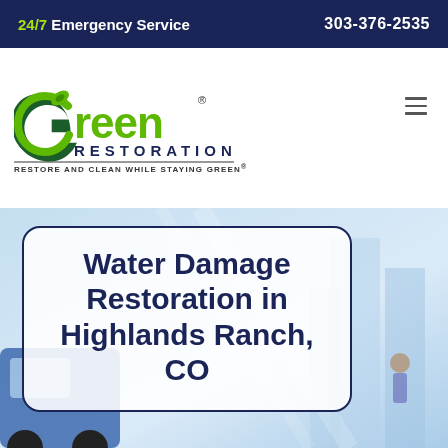24/7 Emergency Service   303-376-2535
[Figure (logo): Green Restoration logo with green leaf swirl and text 'Green Restoration - Restore and Clean While Staying Green®']
Water Damage Restoration in Highlands Ranch, CO